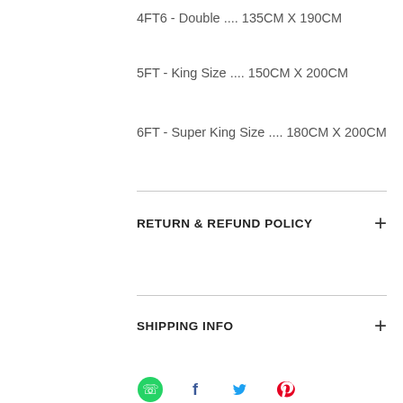4FT6 - Double .... 135CM X 190CM
5FT - King Size .... 150CM X 200CM
6FT - Super King Size .... 180CM X 200CM
RETURN & REFUND POLICY
SHIPPING INFO
Contact Us
customerservice.sleepyn@gmail.com